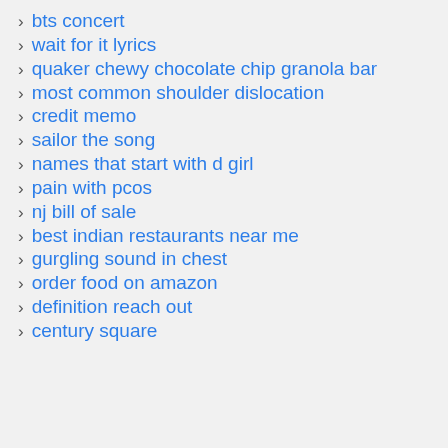bts concert
wait for it lyrics
quaker chewy chocolate chip granola bar
most common shoulder dislocation
credit memo
sailor the song
names that start with d girl
pain with pcos
nj bill of sale
best indian restaurants near me
gurgling sound in chest
order food on amazon
definition reach out
century square